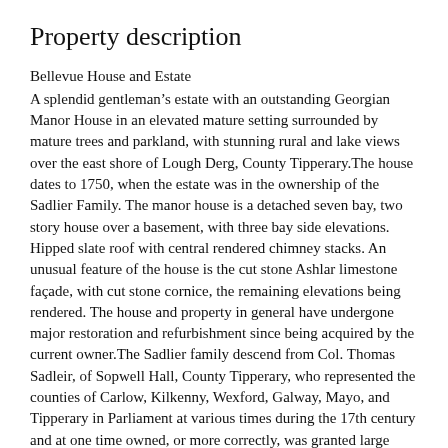Property description
Bellevue House and Estate
A splendid gentleman’s estate with an outstanding Georgian Manor House in an elevated mature setting surrounded by mature trees and parkland, with stunning rural and lake views over the east shore of Lough Derg, County Tipperary.The house dates to 1750, when the estate was in the ownership of the Sadlier Family. The manor house is a detached seven bay, two story house over a basement, with three bay side elevations. Hipped slate roof with central rendered chimney stacks. An unusual feature of the house is the cut stone Ashlar limestone façade, with cut stone cornice, the remaining elevations being rendered. The house and property in general have undergone major restoration and refurbishment since being acquired by the current owner.The Sadlier family descend from Col. Thomas Sadleir, of Sopwell Hall, County Tipperary, who represented the counties of Carlow, Kilkenny, Wexford, Galway, Mayo, and Tipperary in Parliament at various times during the 17th century and at one time owned, or more correctly, was granted large tracts of land in the North Riding of County Tipperary by Cromwell.It appears from historical documentation that the land upon which Bellevue House stands, was owned by one Charles Sadleir. Under the Renewable Leasehold Conversion Act, which recites an original lease made on the second of March 1750, between Charles Sadlier and one John Chawner, who is